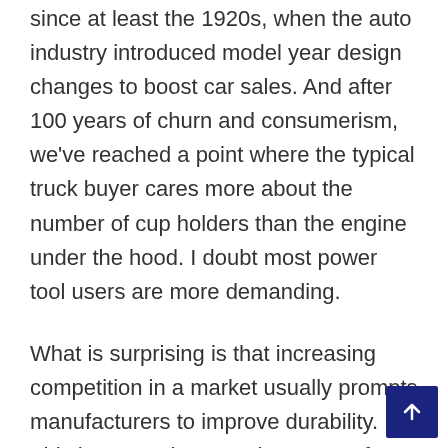since at least the 1920s, when the auto industry introduced model year design changes to boost car sales. And after 100 years of churn and consumerism, we've reached a point where the typical truck buyer cares more about the number of cup holders than the engine under the hood. I doubt most power tool users are more demanding.
What is surprising is that increasing competition in a market usually prompts manufacturers to improve durability. This happened to American cars after the Japanese started importing more durable cars in the 1970s. But that hasn't happened with power tools, at least not in my experience.